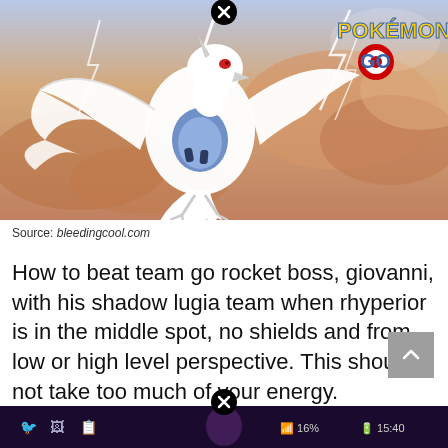[Figure (screenshot): Pokemon GO promotional image showing Lugia (a large white legendary bird Pokemon) flying against a dramatic sky with lightning bolts. The Pokemon GO logo appears in the top right corner. A black circle with an X close button appears at the top center of the image.]
Source: bleedingcool.com
How to beat team go rocket boss, giovanni, with his shadow lugia team when rhyperior is in the middle spot, no shields and from low or high level perspective. This should not take too much of your energy.
[Figure (screenshot): Bottom navigation bar of a mobile app showing a dark purple/black background with icons for Twitter, image gallery, and other apps, battery at 16%, time 15:40, and a close button circle in the center top.]